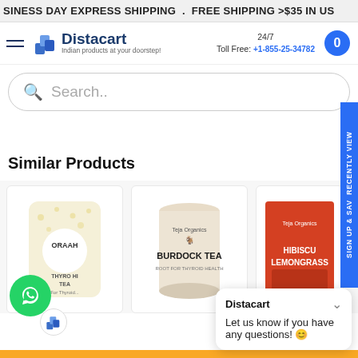SINESS DAY EXPRESS SHIPPING . FREE SHIPPING >$35 IN US
[Figure (logo): Distacart logo with hamburger menu, tagline 'Indian products at your doorstep!', 24/7 Toll Free: +1-855-25-34782, cart button]
Search..
Similar Products
[Figure (photo): ORAAH THYRO HI TEA product - white pouch with yellow floral design]
[Figure (photo): Teja Organics BURDOCK TEA cylindrical brown container]
[Figure (photo): Teja Organics HIBISCUS LEMONGRASS tea red box]
Distacart
Let us know if you have any questions! 😊